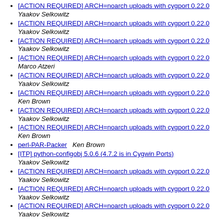[ACTION REQUIRED] ARCH=noarch uploads with cygport 0.22.0  Yaakov Selkowitz
[ACTION REQUIRED] ARCH=noarch uploads with cygport 0.22.0  Yaakov Selkowitz
[ACTION REQUIRED] ARCH=noarch uploads with cygport 0.22.0  Yaakov Selkowitz
[ACTION REQUIRED] ARCH=noarch uploads with cygport 0.22.0  Marco Atzeri
[ACTION REQUIRED] ARCH=noarch uploads with cygport 0.22.0  Yaakov Selkowitz
[ACTION REQUIRED] ARCH=noarch uploads with cygport 0.22.0  Ken Brown
[ACTION REQUIRED] ARCH=noarch uploads with cygport 0.22.0  Yaakov Selkowitz
[ACTION REQUIRED] ARCH=noarch uploads with cygport 0.22.0  Ken Brown
perl-PAR-Packer   Ken Brown
[ITP] python-configobj 5.0.6 (4.7.2 is in Cygwin Ports)  Yaakov Selkowitz
[ACTION REQUIRED] ARCH=noarch uploads with cygport 0.22.0  Yaakov Selkowitz
[ACTION REQUIRED] ARCH=noarch uploads with cygport 0.22.0  Yaakov Selkowitz
[ACTION REQUIRED] ARCH=noarch uploads with cygport 0.22.0  Yaakov Selkowitz